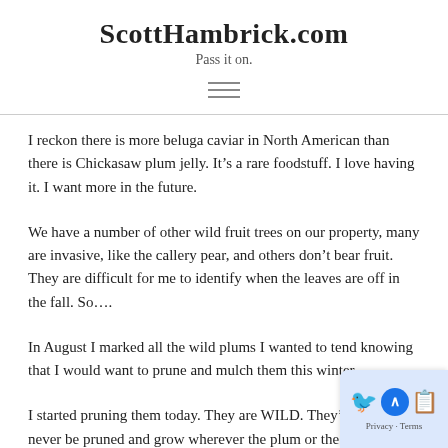ScottHambrick.com
Pass it on.
I reckon there is more beluga caviar in North American than there is Chickasaw plum jelly.  It’s a rare foodstuff.  I love having it. I want more in the future.
We have a number of other wild fruit trees on our property, many are invasive, like the callery pear, and others don’t bear fruit.  They are difficult for me to identify when the leaves are off in the fall.  So….
In August I marked all the wild plums I wanted to tend knowing that I would want to prune and mulch them this winter.
I started pruning them today.  They are WILD.  They’ve never be pruned and grow wherever the plum or the pit in some possum tu